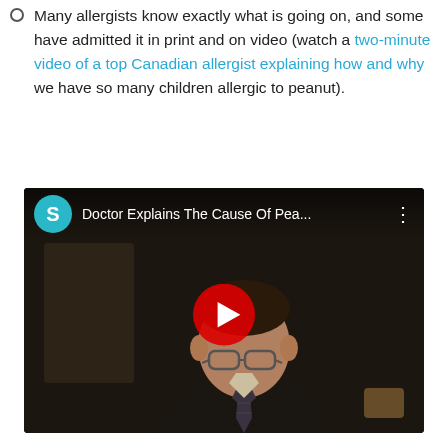Many allergists know exactly what is going on, and some have admitted it in print and on video (watch a two-minute video of a top Canadian allergist explaining how and why we have so many children allergic to peanut).
[Figure (screenshot): YouTube video embed showing a doctor being interviewed, with the title 'Doctor Explains The Cause Of Pea...' and a red play button overlay. A teal 'S' avatar is shown in the top bar.]